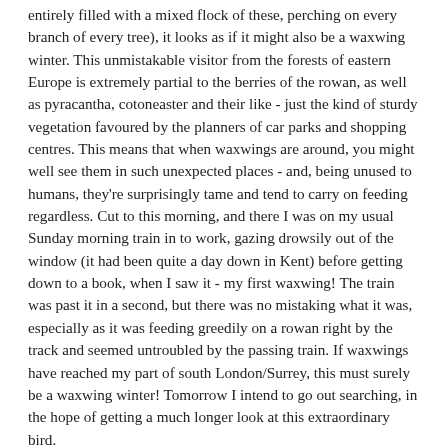entirely filled with a mixed flock of these, perching on every branch of every tree), it looks as if it might also be a waxwing winter. This unmistakable visitor from the forests of eastern Europe is extremely partial to the berries of the rowan, as well as pyracantha, cotoneaster and their like - just the kind of sturdy vegetation favoured by the planners of car parks and shopping centres. This means that when waxwings are around, you might well see them in such unexpected places - and, being unused to humans, they're surprisingly tame and tend to carry on feeding regardless. Cut to this morning, and there I was on my usual Sunday morning train in to work, gazing drowsily out of the window (it had been quite a day down in Kent) before getting down to a book, when I saw it - my first waxwing! The train was past it in a second, but there was no mistaking what it was, especially as it was feeding greedily on a rowan right by the track and seemed untroubled by the passing train. If waxwings have reached my part of south London/Surrey, this must surely be a waxwing winter! Tomorrow I intend to go out searching, in the hope of getting a much longer look at this extraordinary bird.